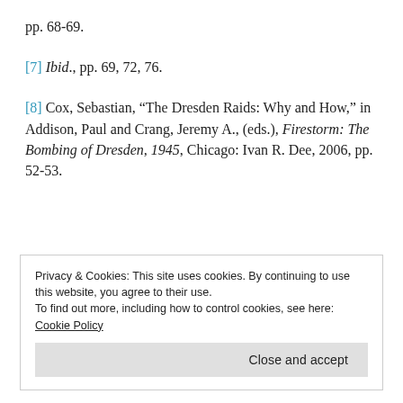pp. 68-69.
[7] Ibid., pp. 69, 72, 76.
[8] Cox, Sebastian, “The Dresden Raids: Why and How,” in Addison, Paul and Crang, Jeremy A., (eds.), Firestorm: The Bombing of Dresden, 1945, Chicago: Ivan R. Dee, 2006, pp. 52-53.
REPORT THIS AD
Privacy & Cookies: This site uses cookies. By continuing to use this website, you agree to their use.
To find out more, including how to control cookies, see here: Cookie Policy
Close and accept